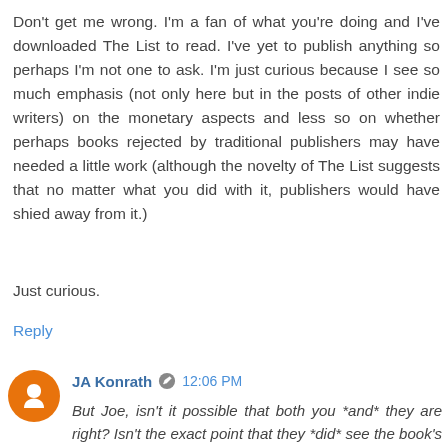Don't get me wrong. I'm a fan of what you're doing and I've downloaded The List to read. I've yet to publish anything so perhaps I'm not one to ask. I'm just curious because I see so much emphasis (not only here but in the posts of other indie writers) on the monetary aspects and less so on whether perhaps books rejected by traditional publishers may have needed a little work (although the novelty of The List suggests that no matter what you did with it, publishers would have shied away from it.)
Just curious.
Reply
JA Konrath  12:06 PM
But Joe, isn't it possible that both you *and* they are right? Isn't the exact point that they *did* see the book's commercial potential?
No. In the past, publishers would nurture authors and grow their brand. This was how the majority of the bestsellers we